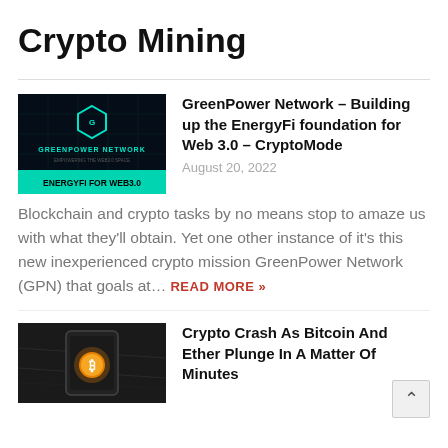Crypto Mining
[Figure (photo): GreenPower Network promotional image with cyan/teal network hexagon logo on dark background, text GREENPOWER NETWORK and ENERGYFI FOR WEB3.0]
GreenPower Network – Building up the EnergyFi foundation for Web 3.0 – CryptoMode
August 20, 2022
Blockchain and crypto tasks by no means stop to amaze us with what they'll obtain. Yet one other instance of it's this new inexperienced crypto mission GreenPower Network (GPN) that goals at… READ MORE »
[Figure (photo): Dark background image showing a smartphone with Bitcoin coin glowing orange/gold on a map background]
Crypto Crash As Bitcoin And Ether Plunge In A Matter Of Minutes